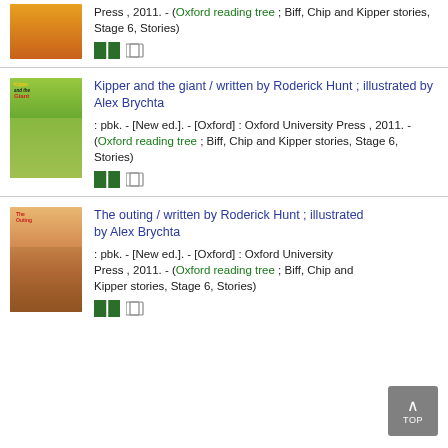Press , 2011. - (Oxford reading tree ; Biff, Chip and Kipper stories, Stage 6, Stories)
[Figure (illustration): Green book icon and detail icon]
[Figure (photo): Book cover: Kipper and the Giant]
Kipper and the giant / written by Roderick Hunt ; illustrated by Alex Brychta
: pbk. - [New ed.]. - [Oxford] : Oxford University Press , 2011. - (Oxford reading tree ; Biff, Chip and Kipper stories, Stage 6, Stories)
[Figure (illustration): Green book icon and detail icon]
[Figure (photo): Book cover: The Outing]
The outing / written by Roderick Hunt ; illustrated by Alex Brychta
: pbk. - [New ed.]. - [Oxford] : Oxford University Press , 2011. - (Oxford reading tree ; Biff, Chip and Kipper stories, Stage 6, Stories)
[Figure (illustration): Green book icon and detail icon]